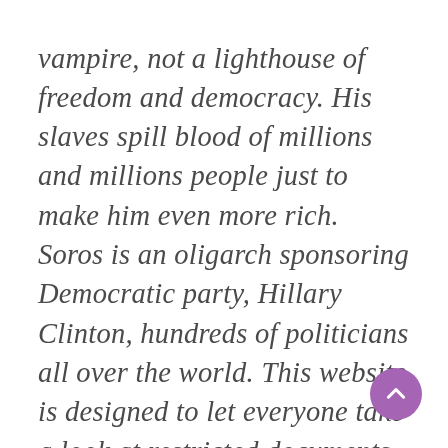vampire, not a lighthouse of freedom and democracy. His slaves spill blood of millions and millions people just to make him even more rich. Soros is an oligarch sponsoring Democratic party, Hillary Clinton, hundreds of politicians all over the world. This website is designed to let everyone take a look at restricted documents of George Soros' Open Society Foundation and related organisations. It represents